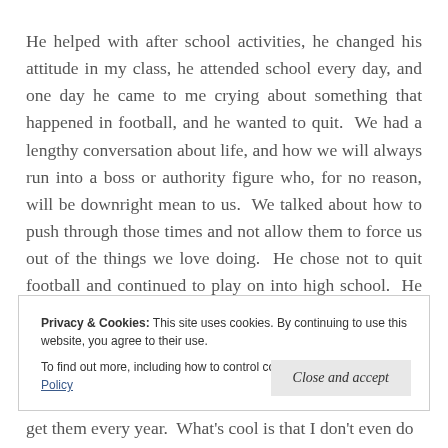He helped with after school activities, he changed his attitude in my class, he attended school every day, and one day he came to me crying about something that happened in football, and he wanted to quit.  We had a lengthy conversation about life, and how we will always run into a boss or authority figure who, for no reason, will be downright mean to us.  We talked about how to push through those times and not allow them to force us out of the things we love doing.  He chose not to quit football and continued to play on into high school.  He wrote me a
Privacy & Cookies: This site uses cookies. By continuing to use this website, you agree to their use.
To find out more, including how to control cookies, see here: Cookie Policy
get them every year.  What's cool is that I don't even do